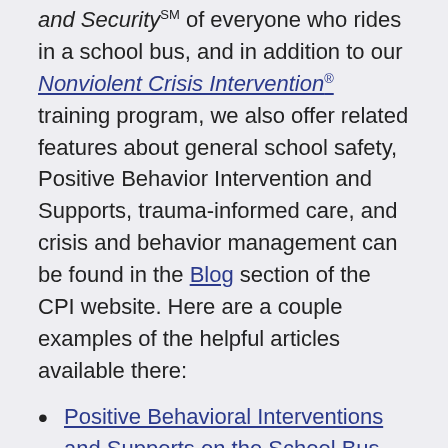and Security℠ of everyone who rides in a school bus, and in addition to our Nonviolent Crisis Intervention® training program, we also offer related features about general school safety, Positive Behavior Intervention and Supports, trauma-informed care, and crisis and behavior management can be found in the Blog section of the CPI website. Here are a couple examples of the helpful articles available there:
Positive Behavioral Interventions and Supports on the School Bus
How to Help a Troubled Youth
Creating a Safe Environment on the School Bus